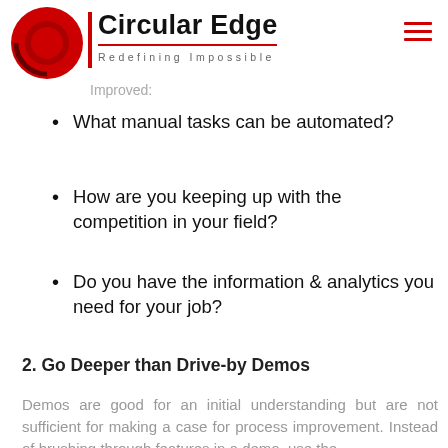Circular Edge — Redefining Impossible
Improved:
What manual tasks can be automated?
How are you keeping up with the competition in your field?
Do you have the information & analytics you need for your job?
2. Go Deeper than Drive-by Demos
Demos are good for an initial understanding but are not sufficient for making a case for process improvement. Instead of brushing through features in a demo, use the